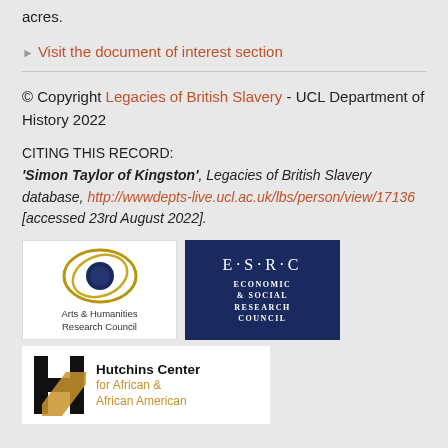acres.
▶ Visit the document of interest section
© Copyright Legacies of British Slavery - UCL Department of History 2022
CITING THIS RECORD:
'Simon Taylor of Kingston', Legacies of British Slavery database, http://wwwdepts-live.ucl.ac.uk/lbs/person/view/17136 [accessed 23rd August 2022].
[Figure (logo): Arts & Humanities Research Council logo with circular blue and gold design]
[Figure (logo): ESRC Economic & Social Research Council logo, dark navy blue background with white text]
[Figure (logo): Hutchins Center for African & African American logo with stylized H]